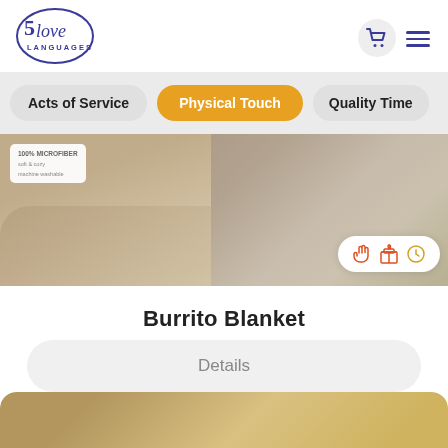[Figure (logo): 5 Love Languages logo — circular script with number 5 and 'love LANGUAGES' text in navy/purple]
[Figure (photo): Product card: two side-by-side product photos of Burrito Blanket, left showing label '100% MICROFIBER', right showing blanket texture, with icons badge (hand, gift, clock)]
Burrito Blanket
Details